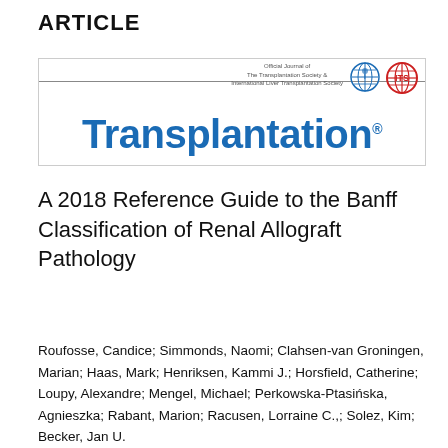ARTICLE
[Figure (logo): Transplantation journal banner with official journal logos for The Transplantation Society and International Liver Transplantation Society, and large blue bold 'Transplantation' title text]
A 2018 Reference Guide to the Banff Classification of Renal Allograft Pathology
Roufosse, Candice; Simmonds, Naomi; Clahsen-van Groningen, Marian; Haas, Mark; Henriksen, Kammi J.; Horsfield, Catherine; Loupy, Alexandre; Mengel, Michael; Perkowska-Ptasińska, Agnieszka; Rabant, Marion; Racusen, Lorraine C.,; Solez, Kim; Becker, Jan U.